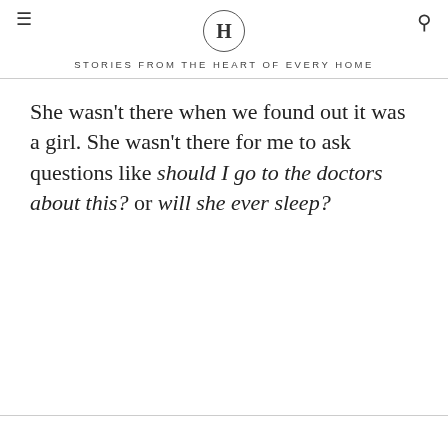H — STORIES FROM THE HEART OF EVERY HOME
She wasn't there when we found out it was a girl. She wasn't there for me to ask questions like should I go to the doctors about this? or will she ever sleep?